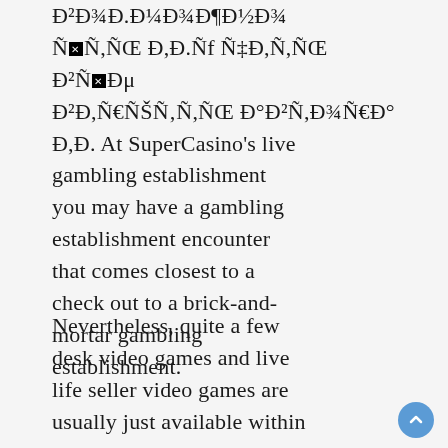Đ²Đ¾Đ.Đ¼Đ¾Đ¶Đ½Đ¾ Ñ×Ñ,ÑŒ Đ,Đ.ÑfÑ‡Đ,Ñ,ÑŒ Đ²Ñ×Đμ Đ²Đ,Ñ€ÑŠÑ‚Ñ,Ñ‹Đ. Đ. At SuperCasino's live gambling establishment you may have a gambling establishment encounter that comes closest to a check out to a brick-and-mortar gambling establishment.
Nevertheless, quite a few desk video games and live life seller video games are usually just available within